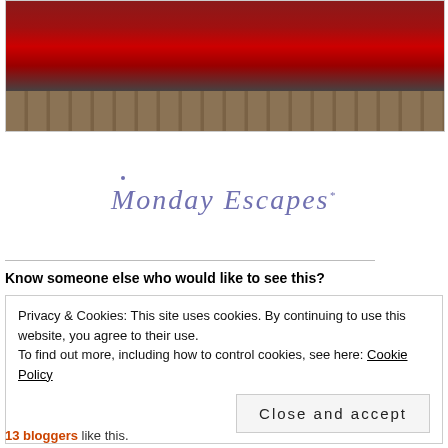[Figure (photo): Photo of a red shiny object (possibly a car or motorcycle) on a wooden deck surface, cropped at top]
[Figure (logo): Monday Escapes cursive logo in light blue/lavender color]
Know someone else who would like to see this?
Privacy & Cookies: This site uses cookies. By continuing to use this website, you agree to their use.
To find out more, including how to control cookies, see here: Cookie Policy
Close and accept
13 bloggers like this.